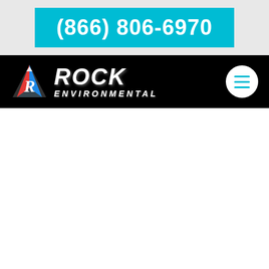[Figure (other): Phone number call-to-action banner with cyan/turquoise background showing (866) 806-6970 in white bold text, on a light gray top bar]
[Figure (logo): Rock Environmental company logo and navigation bar on black background. Logo features a triangular 'R' icon with fire/water imagery and the company name 'ROCK ENVIRONMENTAL' in white italic bold text. A circular white menu button with cyan hamburger lines appears on the right.]